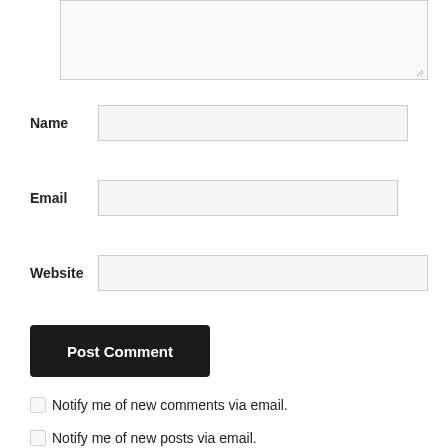[Figure (screenshot): Comment form textarea (partially visible at top, showing empty resizable text area)]
Name
Email
Website
Post Comment
Notify me of new comments via email.
Notify me of new posts via email.